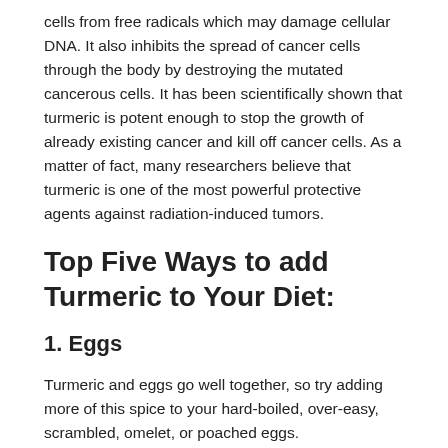cells from free radicals which may damage cellular DNA. It also inhibits the spread of cancer cells through the body by destroying the mutated cancerous cells. It has been scientifically shown that turmeric is potent enough to stop the growth of already existing cancer and kill off cancer cells. As a matter of fact, many researchers believe that turmeric is one of the most powerful protective agents against radiation-induced tumors.
Top Five Ways to add Turmeric to Your Diet:
1. Eggs
Turmeric and eggs go well together, so try adding more of this spice to your hard-boiled, over-easy, scrambled, omelet, or poached eggs.
2. Veggies